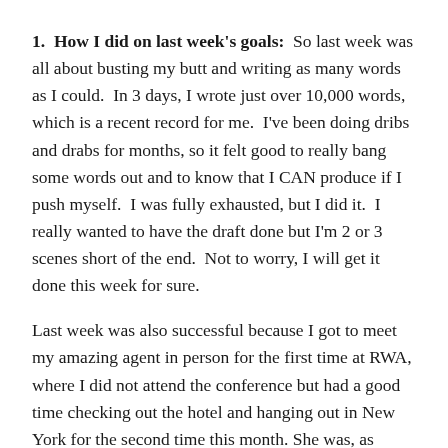1.  How I did on last week's goals:  So last week was all about busting my butt and writing as many words as I could.  In 3 days, I wrote just over 10,000 words, which is a recent record for me.  I've been doing dribs and drabs for months, so it felt good to really bang some words out and to know that I CAN produce if I push myself.  I was fully exhausted, but I did it.  I really wanted to have the draft done but I'm 2 or 3 scenes short of the end.  Not to worry, I will get it done this week for sure.
Last week was also successful because I got to meet my amazing agent in person for the first time at RWA, where I did not attend the conference but had a good time checking out the hotel and hanging out in New York for the second time this month. She was, as expected, super lovely and I was reminded of how lucky I am to have her on my side.  We decided that my book that's been out on sub for